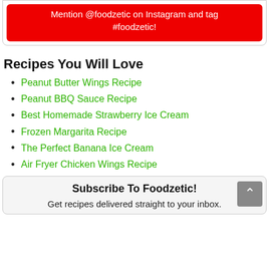Mention @foodzetic on Instagram and tag #foodzetic!
Recipes You Will Love
Peanut Butter Wings Recipe
Peanut BBQ Sauce Recipe
Best Homemade Strawberry Ice Cream
Frozen Margarita Recipe
The Perfect Banana Ice Cream
Air Fryer Chicken Wings Recipe
Subscribe To Foodzetic!
Get recipes delivered straight to your inbox.